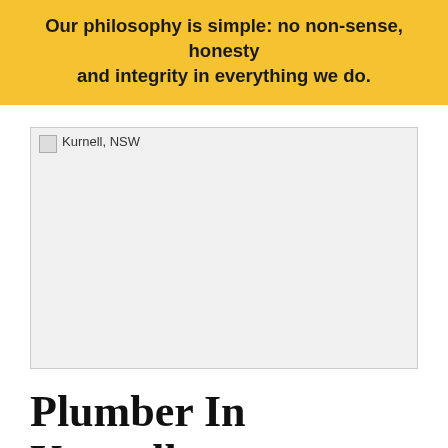Our philosophy is simple: no non-sense, honesty and integrity in everything we do.
[Figure (photo): Broken/missing image placeholder labeled 'Kurnell, NSW']
Plumber In Kurnell
Sydney And Servo Kurnell...